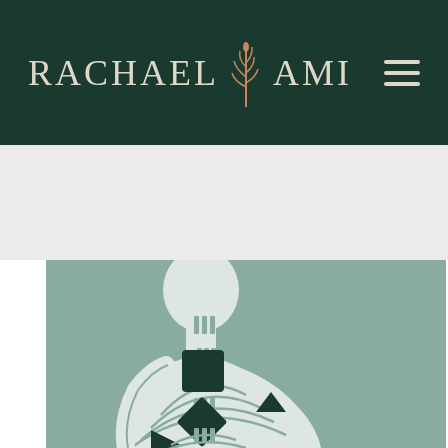RACHAEL AMI
[Figure (illustration): Stylized illustration of a human figure silhouette (robot/cyborg) in white on a muted sage-green background, with geometric dark teal shapes (square, diamond, triangles) overlaid on the torso and neck area representing circuit board or chakra-like elements. The figure is shown from the torso up, facing slightly left.]